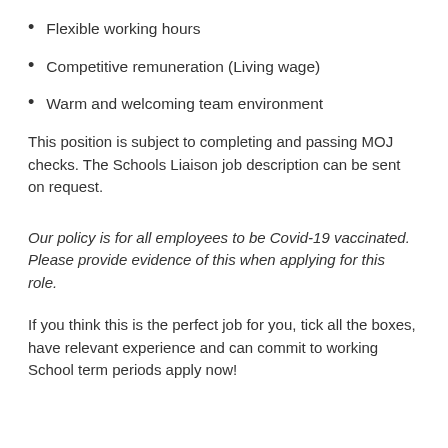Flexible working hours
Competitive remuneration (Living wage)
Warm and welcoming team environment
This position is subject to completing and passing MOJ checks. The Schools Liaison job description can be sent on request.
Our policy is for all employees to be Covid-19 vaccinated. Please provide evidence of this when applying for this role.
If you think this is the perfect job for you, tick all the boxes, have relevant experience and can commit to working School term periods apply now!